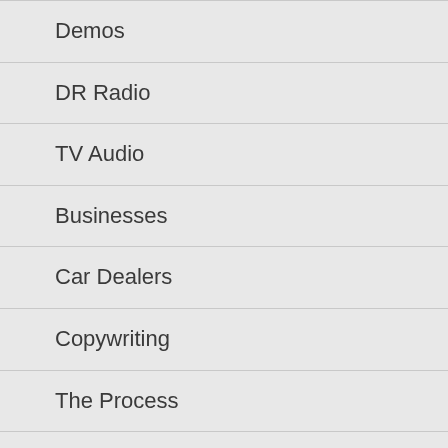Demos
DR Radio
TV Audio
Businesses
Car Dealers
Copywriting
The Process